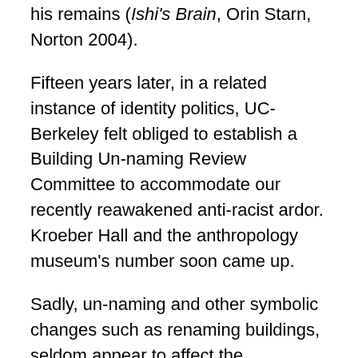his remains (Ishi's Brain, Orin Starn, Norton 2004).
Fifteen years later, in a related instance of identity politics, UC-Berkeley felt obliged to establish a Building Un-naming Review Committee to accommodate our recently reawakened anti-racist ardor. Kroeber Hall and the anthropology museum's number soon came up.
Sadly, un-naming and other symbolic changes such as renaming buildings, seldom appear to affect the substance or tenor of what happens within them. In removal of monuments and names from our shared racist past, we run the risk of confusing re-branding with reform. With repentance, perhaps, for the many thousands of California Indians killed and displaced by the time Ishi was discovered.
Whe...